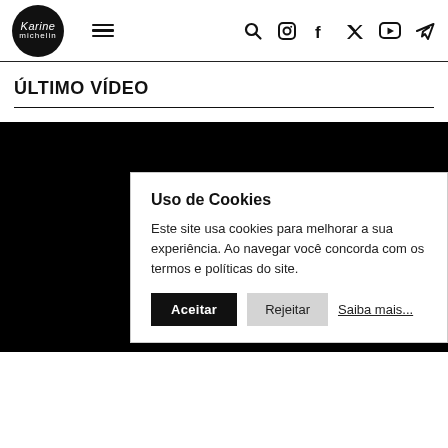Karine Michelin — navigation header with logo, hamburger menu, search, instagram, facebook, twitter, youtube, telegram icons
ÚLTIMO VÍDEO
[Figure (screenshot): Video player area with black background showing a cookie consent overlay dialog with title 'Uso de Cookies', body text 'Este site usa cookies para melhorar a sua experiência. Ao navegar você concorda com os termos e políticas do site.', and three buttons: Aceitar, Rejeitar, Saiba mais...]